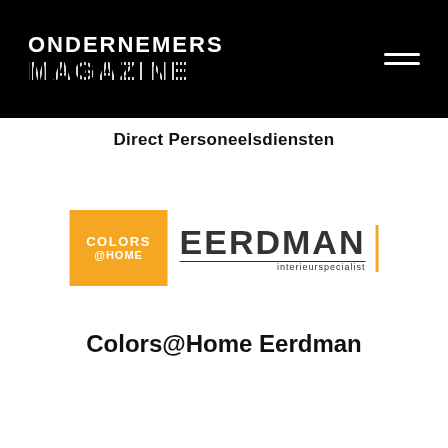[Figure (logo): Ondernemers Magazine logo — white bold text on black background with striped MAGAZINE text]
Direct Personeelsdiensten
[Figure (logo): Colors@Home Eerdman interieurspecialist logo — orange box with COLORS @HOME text, EERDMAN large dark letters, interieurspecialist subtitle, orange vertical bar]
Colors@Home Eerdman